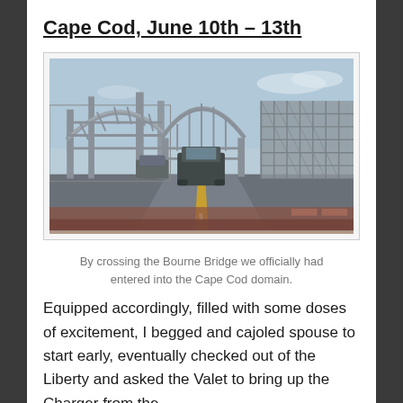Cape Cod, June 10th – 13th
[Figure (photo): View from a car crossing the Bourne Bridge on Cape Cod, showing the steel arch truss structure overhead, vehicles ahead on the roadway, and overcast sky above.]
By crossing the Bourne Bridge we officially had entered into the Cape Cod domain.
Equipped accordingly, filled with some doses of excitement, I begged and cajoled spouse to start early, eventually checked out of the Liberty and asked the Valet to bring up the Charger from the